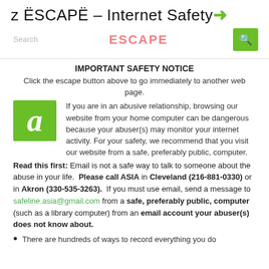z ESCAPE – Internet Safety →
Search   ESCAPE   [search button]
IMPORTANT SAFETY NOTICE
Click the escape button above to go immediately to another web page.
[Figure (logo): Green square logo with italic white letter 'a']
If you are in an abusive relationship, browsing our website from your home computer can be dangerous because your abuser(s) may monitor your internet activity. For your safety, we recommend that you visit our website from a safe, preferably public, computer.
Read this first: Email is not a safe way to talk to someone about the abuse in your life. Please call ASIA in Cleveland (216-881-0330) or in Akron (330-535-3263). If you must use email, send a message to safeline.asia@gmail.com from a safe, preferably public, computer (such as a library computer) from an email account your abuser(s) does not know about.
There are hundreds of ways to record everything you do